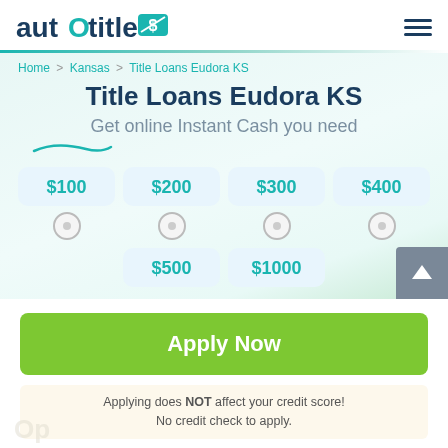auto title [logo]
Home > Kansas > Title Loans Eudora KS
Title Loans Eudora KS
Get online Instant Cash you need
$100
$200
$300
$400
$500
$1000
Apply Now
Applying does NOT affect your credit score!
No credit check to apply.